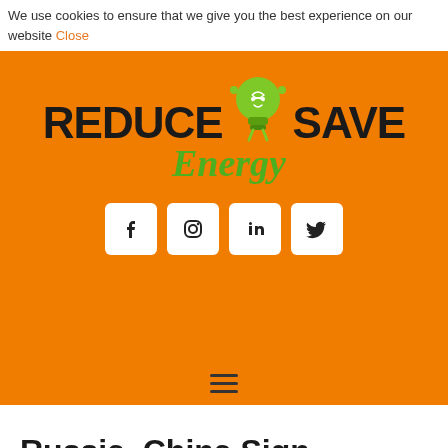We use cookies to ensure that we give you the best experience on our website Close
[Figure (logo): Reduce Save Energy logo with light bulb mascot on orange background, with Facebook, Instagram, LinkedIn, and Twitter social media icons below]
Russia, China Sign Second Blockbuster Gas Deal